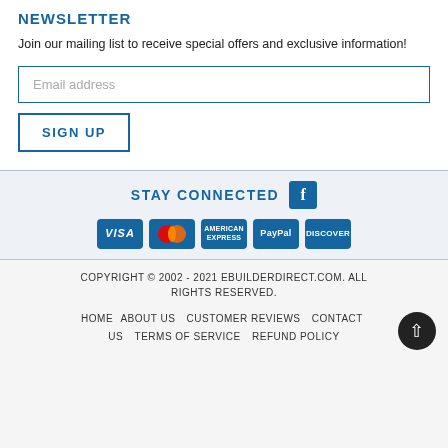NEWSLETTER
Join our mailing list to receive special offers and exclusive information!
[Figure (screenshot): Email address input field with blue border and placeholder text 'Email address']
[Figure (screenshot): SIGN UP button with blue border and blue text]
STAY CONNECTED
[Figure (screenshot): Payment icons: VISA, Mastercard, American Express, PayPal, Discover]
COPYRIGHT © 2002 - 2021 EBUILDERDIRECT.COM. ALL RIGHTS RESERVED.
HOME   ABOUT US   CUSTOMER REVIEWS   CONTACT US   TERMS OF SERVICE   REFUND POLICY